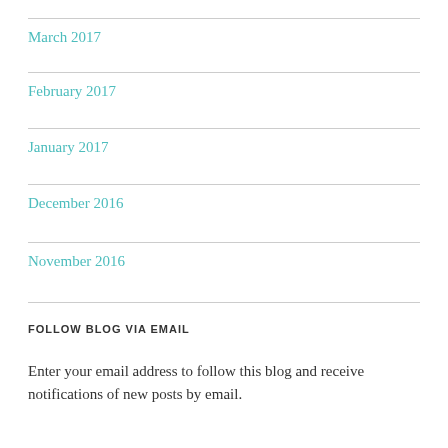March 2017
February 2017
January 2017
December 2016
November 2016
FOLLOW BLOG VIA EMAIL
Enter your email address to follow this blog and receive notifications of new posts by email.